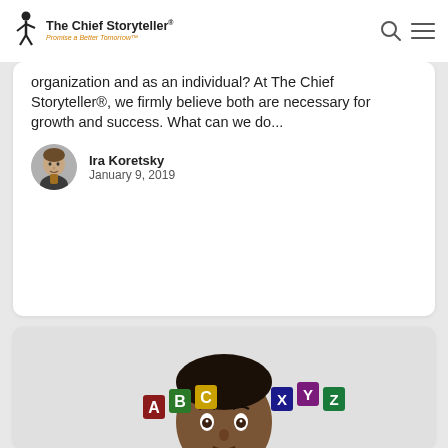The Chief Storyteller® Promise a Better Tomorrow™
organization and as an individual? At The Chief Storyteller®, we firmly believe both are necessary for growth and success.  What can we do...
Ira Koretsky
January 9, 2019
[Figure (photo): Man with wide eyes and colorful alphabet letter magnets floating near his head, wearing a black polo shirt]
Blog